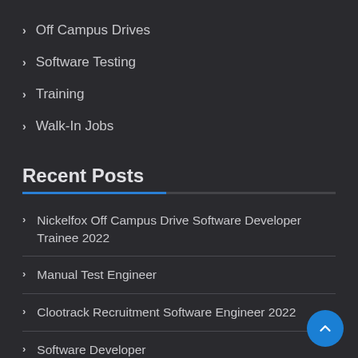Off Campus Drives
Software Testing
Training
Walk-In Jobs
Recent Posts
Nickelfox Off Campus Drive Software Developer Trainee 2022
Manual Test Engineer
Clootrack Recruitment Software Engineer 2022
Software Developer
Quest Off Campus Hiring for Software Developer Trainee